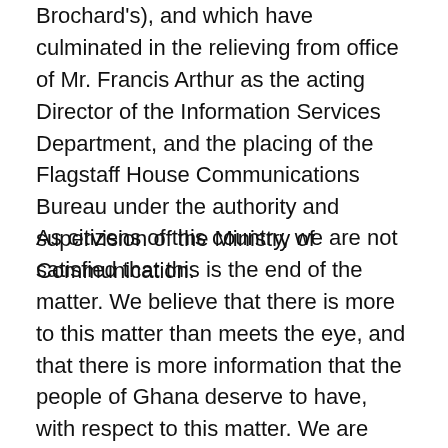Brochard's), and which have culminated in the relieving from office of Mr. Francis Arthur as the acting Director of the Information Services Department, and the placing of the Flagstaff House Communications Bureau under the authority and supervision of the Ministry of Communication.
As citizens of this country, we are not satisfied that this is the end of the matter. We believe that there is more to this matter than meets the eye, and that there is more information that the people of Ghana deserve to have, with respect to this matter. We are fortified in this belief by Article 21(1)(f) of the Constitution which provides that "[a]ll persons shall have the right